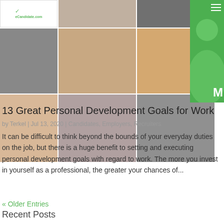[Figure (photo): Collage of professional headshots and profile photos of various people arranged in a grid, with a green sidebar on the right showing a partial illustration of a person and the letter M]
13 Great Personal Development Goals for Work
by Terkel | Jul 13, 2020 | Candidates, Employers, Recruiters
It can be difficult to think beyond the bounds of your everyday duties on the job, but there is a huge benefit to setting and executing personal development goals with regard to work. The more you invest in yourself as a professional, the greater your chances of...
« Older Entries
Recent Posts